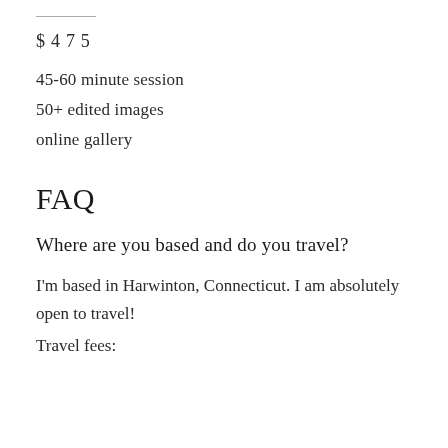$475
45-60 minute session
50+ edited images
online gallery
FAQ
Where are you based and do you travel?
I'm based in Harwinton, Connecticut. I am absolutely open to travel!
Travel fees: